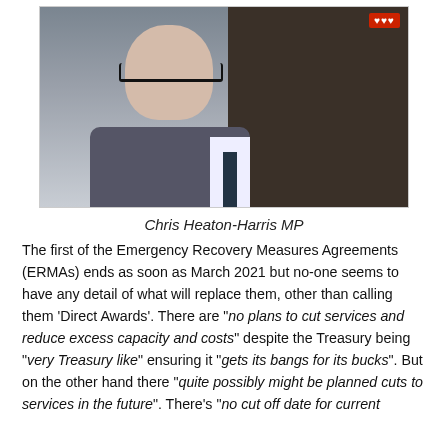[Figure (photo): Video call screenshot of a middle-aged man wearing glasses and a dark suit with white shirt and tie, appearing in an online meeting. Bookshelf and office background visible.]
Chris Heaton-Harris MP
The first of the Emergency Recovery Measures Agreements (ERMAs) ends as soon as March 2021 but no-one seems to have any detail of what will replace them, other than calling them ‘Direct Awards’. There are “no plans to cut services and reduce excess capacity and costs” despite the Treasury being “very Treasury like” ensuring it “gets its bangs for its bucks”. But on the other hand there “quite possibly might be planned cuts to services in the future”. There’s “no cut off date for current